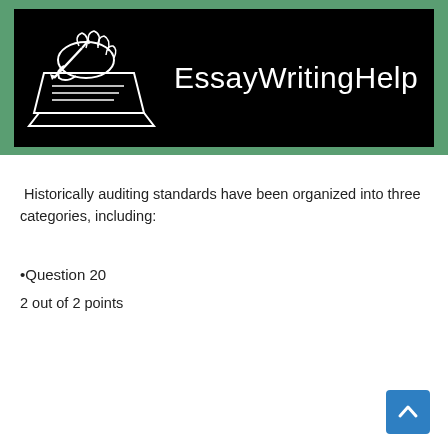[Figure (logo): EssayWritingHelp logo — black banner with a white hand-drawn illustration of a hand writing on paper with a pen, and the text 'EssayWritingHelp' in white on the right]
Historically auditing standards have been organized into three categories, including:
•Question 20
2 out of 2 points